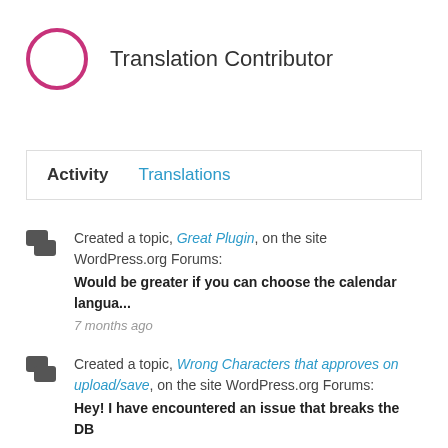[Figure (logo): Translation contributor badge icon — pink/magenta circle with white letter A and foreign character inside]
Translation Contributor
Activity
Translations
Created a topic, Great Plugin, on the site WordPress.org Forums: Would be greater if you can choose the calendar langua... 7 months ago
Created a topic, Wrong Characters that approves on upload/save, on the site WordPress.org Forums: Hey! I have encountered an issue that breaks the DB